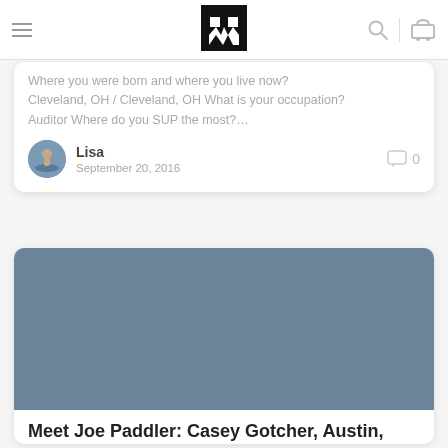Navigation header with menu icon, logo, search icon, and cart icon
Where you were born and where you live now? Cleveland, OH / Cleveland, OH What is your occupation? Auditor Where do you SUP the most?...
Lisa
September 20, 2016
0
[Figure (photo): Blue-grey image placeholder for blog post]
Meet Joe Paddler: Casey Gotcher, Austin,